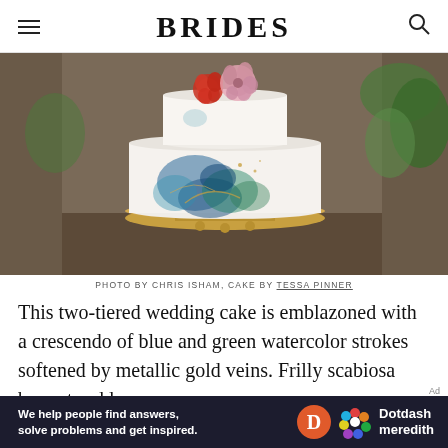BRIDES
[Figure (photo): A two-tiered white wedding cake decorated with blue and green watercolor strokes and metallic gold veins, topped with red and pink flowers, placed on a gold cake stand.]
PHOTO BY CHRIS ISHAM, CAKE BY TESSA PINNER
This two-tiered wedding cake is emblazoned with a crescendo of blue and green watercolor strokes softened by metallic gold veins. Frilly scabiosa bonnets add a pop
[Figure (other): Dotdash Meredith advertisement banner: 'We help people find answers, solve problems and get inspired.']